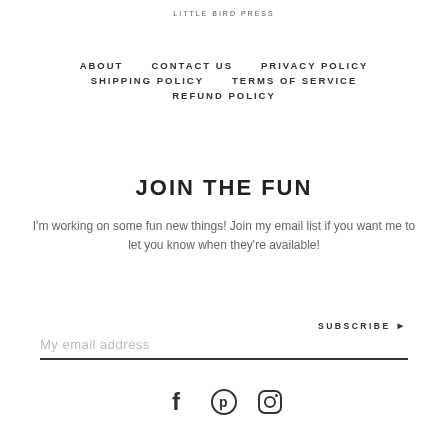LITTLE BIRD PRESS
ABOUT
CONTACT US
PRIVACY POLICY
SHIPPING POLICY
TERMS OF SERVICE
REFUND POLICY
JOIN THE FUN
I'm working on some fun new things! Join my email list if you want me to let you know when they're available!
SUBSCRIBE ▶ My email address
[Figure (other): Social media icons: Facebook, Pinterest, Instagram]